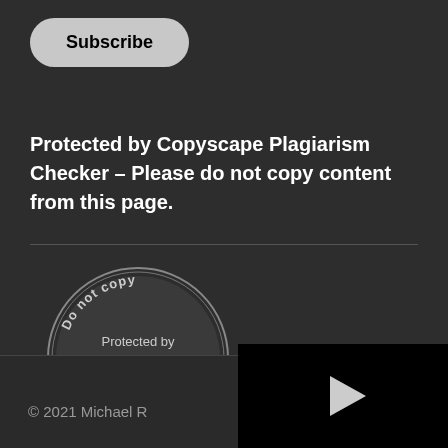Subscribe
Protected by Copyscape Plagiarism Checker – Please do not copy content from this page.
[Figure (logo): Copyscape 'Do not copy – Protected by COPYSCAPE – Do not copy' circular stamp badge in black and white]
[Figure (other): Close/dismiss button – black circle with white X]
© 2021 Michael R
[Figure (other): Black video panel with play button triangle]